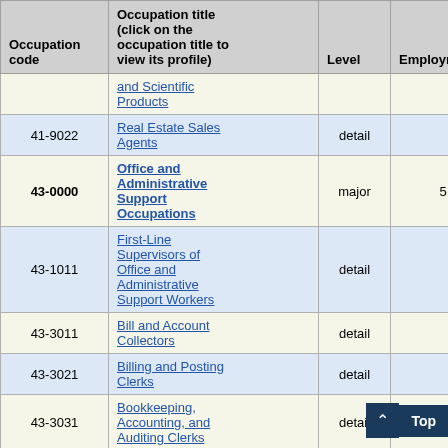| Occupation code | Occupation title (click on the occupation title to view its profile) | Level | Employment | Employment RSE |
| --- | --- | --- | --- | --- |
|  | and Scientific Products |  |  |  |
| 41-9022 | Real Estate Sales Agents | detail | 30 | 19 |
| 43-0000 | Office and Administrative Support Occupations | major | 5,690 | 1 |
| 43-1011 | First-Line Supervisors of Office and Administrative Support Workers | detail | 360 | 3 |
| 43-3011 | Bill and Account Collectors | detail | 40 | 17 |
| 43-3021 | Billing and Posting Clerks | detail | 110 | 6 |
| 43-3031 | Bookkeeping, Accounting, and Auditing Clerks | detail | 47 |  |